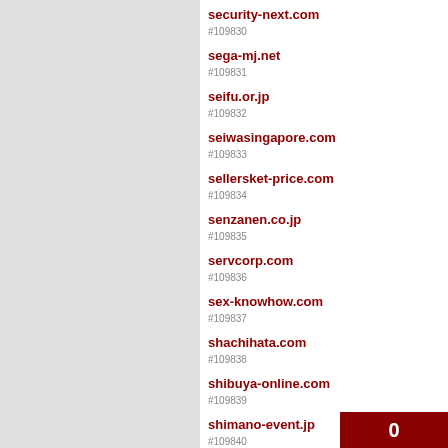#109830 security-next.com
#109831 sega-mj.net
#109832 seifu.or.jp
#109833 seiwasingapore.com
#109834 sellersket-price.com
#109835 senzanen.co.jp
#109836 servcorp.com
#109837 sex-knowhow.com
#109838 shachihata.com
#109839 shibuya-online.com
#109840 shimano-event.jp
#109841 shinya-gohan.com